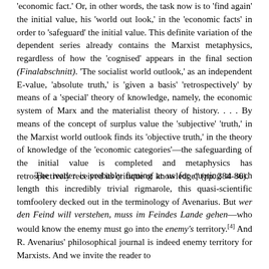'economic fact.' Or, in other words, the task now is to 'find again' the initial value, his 'world out look,' in the 'economic facts' in order to 'safeguard' the initial value. This definite variation of the dependent series already contains the Marxist metaphysics, regardless of how the 'cognised' appears in the final section (Finalabschnitt). 'The socialist world outlook,' as an independent E-value, 'absolute truth,' is 'given a basis' 'retrospectively' by means of a 'special' theory of knowledge, namely, the economic system of Marx and the materialist theory of history. . . . By means of the concept of surplus value the 'subjective' 'truth,' in the Marxist world outlook finds its 'objective truth,' in the theory of knowledge of the 'economic categories'—the safeguarding of the initial value is completed and metaphysics has retrospectively received its critique of knowledge" (pp. 384-86).
The reader is probably fuming at us for quoting at such length this incredibly trivial rigmarole, this quasi-scientific tomfoolery decked out in the terminology of Avenarius. But wer den Feind will verstehen, muss im Feindes Lande gehen—who would know the enemy must go into the enemy's territory.[4] And R. Avenarius' philosophical journal is indeed enemy territory for Marxists. And we invite the reader to